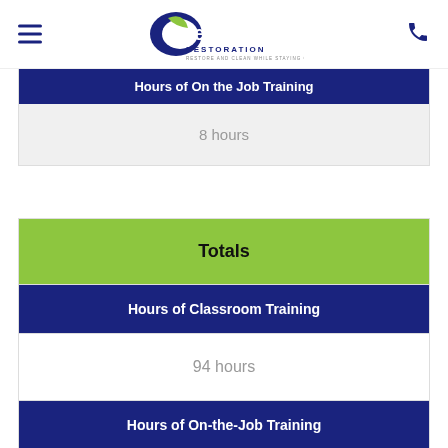Green Restoration — Restore and Clean While Staying Green
| Hours of On the Job Training |
| --- |
| 8 hours |
| Totals | Hours of Classroom Training | Hours of On-the-Job Training |
| --- | --- | --- |
|  | 94 hours | 48 hours |